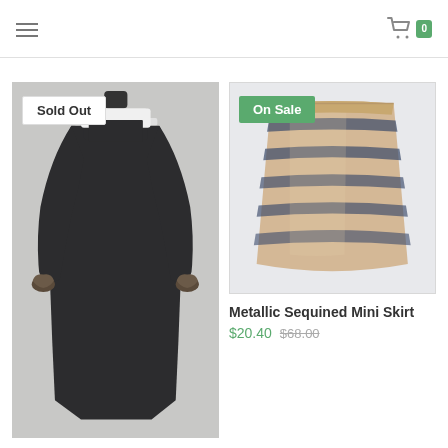Navigation menu and cart (0 items)
[Figure (photo): Black long-sleeve dress with fur cuffs on a mannequin, marked Sold Out]
[Figure (photo): Metallic sequined mini skirt with gold and navy stripe pattern on a white background, marked On Sale]
Metallic Sequined Mini Skirt
$20.40 $68.00